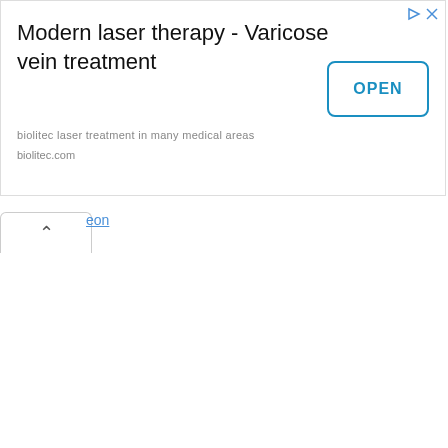[Figure (other): Advertisement banner for biolitec laser treatment / varicose vein treatment with an OPEN button, ad icons, and domain text biolitec.com]
Modern laser therapy - Varicose vein treatment
biolitec laser treatment in many medical areas
biolitec.com
eon